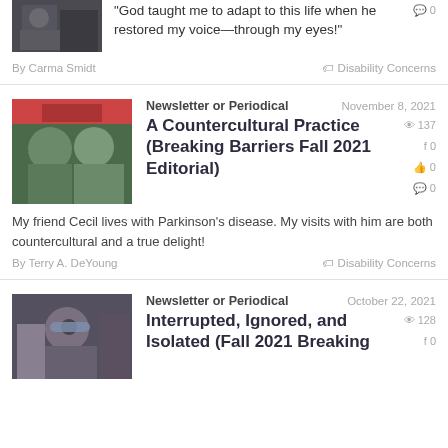[Figure (photo): Partial thumbnail photo at top of page, person visible]
"God taught me to adapt to this life when he restored my voice—through my eyes!"
By Carma Smidt    Disability Concerns
[Figure (photo): Two men sitting together, one older and one younger, both wearing dark green shirts]
Newsletter or Periodical
November 8, 2021
A Countercultural Practice (Breaking Barriers Fall 2021 Editorial)
My friend Cecil lives with Parkinson's disease. My visits with him are both countercultural and a true delight!
By Terry A. DeYoung    Disability Concerns
[Figure (photo): Person in wheelchair wearing sunglasses and dark shirt]
Newsletter or Periodical
October 22, 2021
Interrupted, Ignored, and Isolated (Fall 2021 Breaking